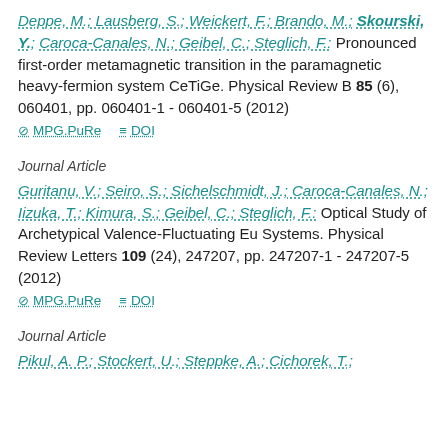Deppe, M.; Lausberg, S.; Weickert, F.; Brando, M.; Skourski, Y.; Caroca-Canales, N.; Geibel, C.; Steglich, F.: Pronounced first-order metamagnetic transition in the paramagnetic heavy-fermion system CeTiGe. Physical Review B 85 (6), 060401, pp. 060401-1 - 060401-5 (2012)
MPG.PuRe   DOI
Journal Article
Guritanu, V.; Seiro, S.; Sichelschmidt, J.; Caroca-Canales, N.; Iizuka, T.; Kimura, S.; Geibel, C.; Steglich, F.: Optical Study of Archetypical Valence-Fluctuating Eu Systems. Physical Review Letters 109 (24), 247207, pp. 247207-1 - 247207-5 (2012)
MPG.PuRe   DOI
Journal Article
Pikul, A. P.; Stockert, U.; Steppke, A.; Cichorek, T.;